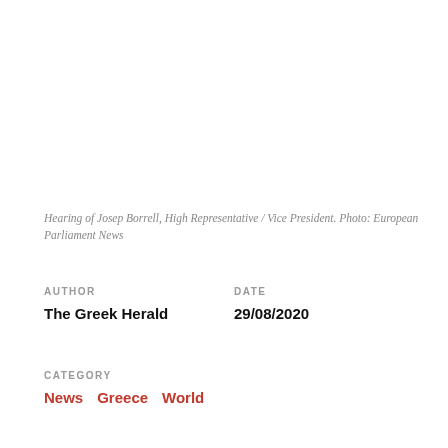Hearing of Josep Borrell, High Representative / Vice President. Photo: European Parliament News
AUTHOR
The Greek Herald
DATE
29/08/2020
CATEGORY
News  Greece  World
The European Union is preparing sanctions against Turkey that could be discussed at the bloc's next summit on Sept. 24 in response to the eastern Mediterranean dispute with Greece, the EU's top